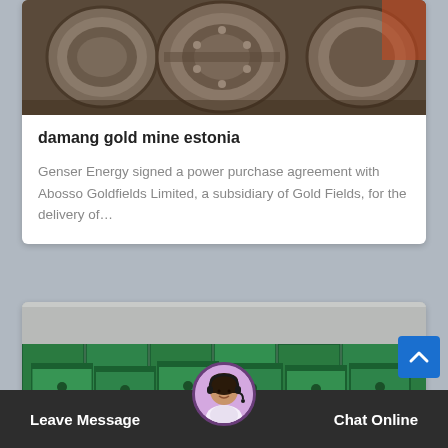[Figure (photo): Industrial machinery photograph showing large metal cylinders/rollers in a factory or mining setting]
damang gold mine estonia
Genser Energy signed a power purchase agreement with Abosso Goldfields Limited, a subsidiary of Gold Fields, for the delivery of…
[Figure (photo): Green industrial metal boxes or molds stacked in rows, possibly mining or manufacturing equipment]
Leave Message   Chat Online